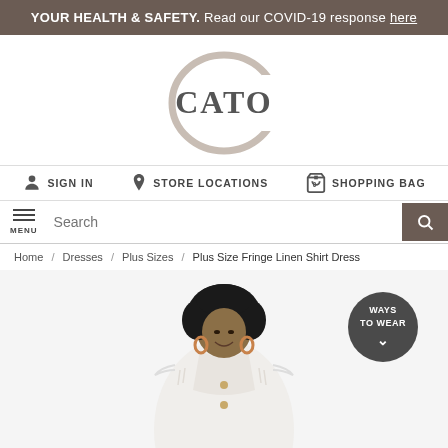YOUR HEALTH & SAFETY. Read our COVID-19 response here
[Figure (logo): Cato fashion brand logo with large decorative C surrounding the word CATO]
SIGN IN   STORE LOCATIONS   SHOPPING BAG 0
MENU  Search
Home / Dresses / Plus Sizes / Plus Size Fringe Linen Shirt Dress
[Figure (photo): Woman wearing a white fringe linen shirt dress, smiling, with curly hair and hoop earrings. A dark circular badge reads WAYS TO WEAR with a chevron arrow.]